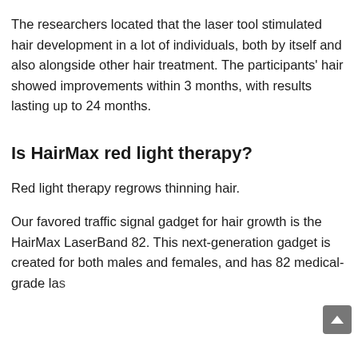The researchers located that the laser tool stimulated hair development in a lot of individuals, both by itself and also alongside other hair treatment. The participants' hair showed improvements within 3 months, with results lasting up to 24 months.
Is HairMax red light therapy?
Red light therapy regrows thinning hair.
Our favored traffic signal gadget for hair growth is the HairMax LaserBand 82. This next-generation gadget is created for both males and females, and has 82 medical-grade las...